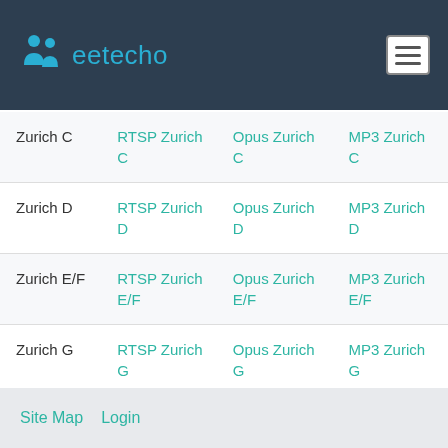[Figure (logo): Meetecho logo with blue icon and teal text on dark navy header background]
| Zurich C | RTSP Zurich C | Opus Zurich C | MP3 Zurich C |
| Zurich D | RTSP Zurich D | Opus Zurich D | MP3 Zurich D |
| Zurich E/F | RTSP Zurich E/F | Opus Zurich E/F | MP3 Zurich E/F |
| Zurich G | RTSP Zurich G | Opus Zurich G | MP3 Zurich G |
Site Map   Login